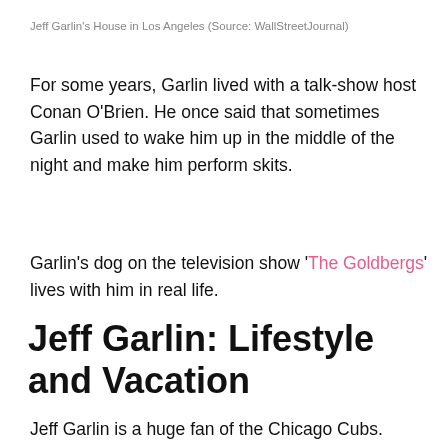Jeff Garlin's House in Los Angeles (Source: WallStreetJournal)
For some years, Garlin lived with a talk-show host Conan O'Brien. He once said that sometimes Garlin used to wake him up in the middle of the night and make him perform skits.
Garlin's dog on the television show 'The Goldbergs' lives with him in real life.
Jeff Garlin: Lifestyle and Vacation
Jeff Garlin is a huge fan of the Chicago Cubs. Every year on his birthday, he attends a game with his